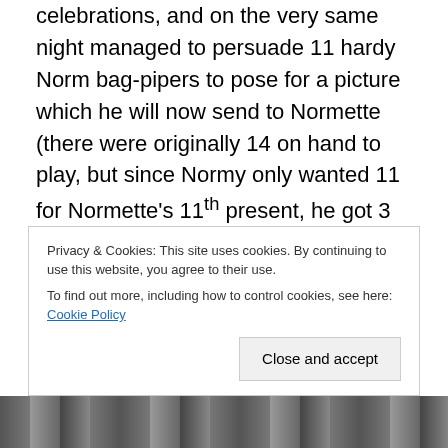celebrations, and on the very same night managed to persuade 11 hardy Norm bag-pipers to pose for a picture which he will now send to Normette (there were originally 14 on hand to play, but since Normy only wanted 11 for Normette's 11th present, he got 3 drunk on Scotch Whisky, which turned out to be a pretty easy task). How can Normette possibly resist that Scottish charm, those flighty little tartan kilts, and those amazing furry hats? And the great advantage of this being a mere photo of the pipers, is that Normette needn't hear the terrible drone of the
Privacy & Cookies: This site uses cookies. By continuing to use this website, you agree to their use. To find out more, including how to control cookies, see here: Cookie Policy
[Figure (photo): Black and white photo strip at the bottom of the page]